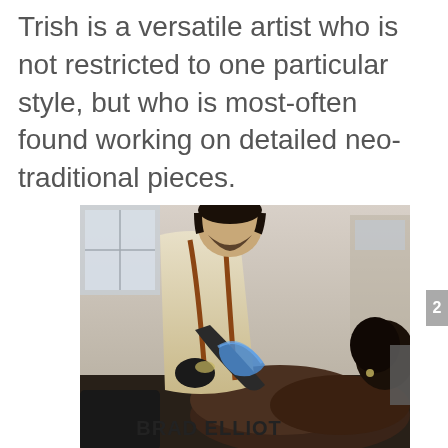Trish is a versatile artist who is not restricted to one particular style, but who is most-often found working on detailed neo-traditional pieces.
[Figure (photo): A tattoo artist (man in cream shirt with suspenders and black gloves) bending over and tattooing a client (woman with dark curly hair in a bun), working in a tattoo studio.]
BRAD ELLIOT